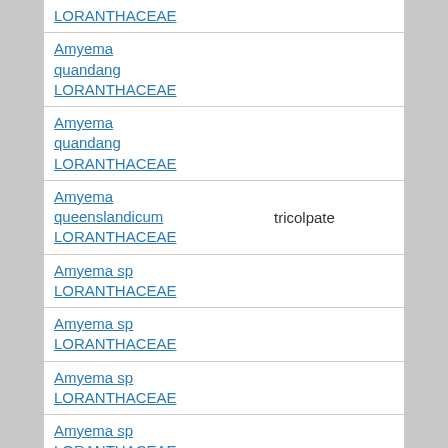| Name | Pollen type | Code |
| --- | --- | --- |
| LORANTHACEAE |  |  |
| Amyema quandang LORANTHACEAE |  | 70-1-3b |
| Amyema quandang LORANTHACEAE |  | 70-1-3c |
| Amyema queenslandicum LORANTHACEAE | tricolpate | 70-1-15 |
| Amyema sp LORANTHACEAE |  | 70-1-10 |
| Amyema sp LORANTHACEAE |  | 70-1-12 |
| Amyema sp LORANTHACEAE |  | 70-1-20 |
| Amyema sp LORANTHACEAE |  | 70-1-8 |
| Amyema sp LORANTHACEAE |  | 70-1-9 |